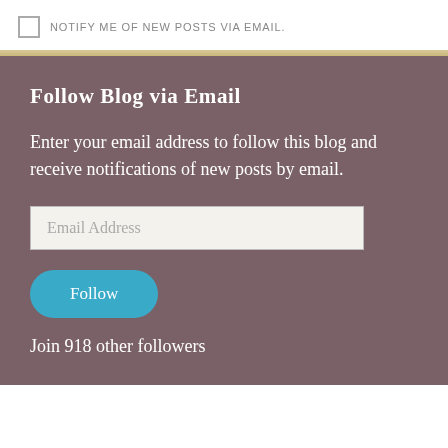NOTIFY ME OF NEW POSTS VIA EMAIL.
Follow Blog via Email
Enter your email address to follow this blog and receive notifications of new posts by email.
Email Address
Follow
Join 918 other followers